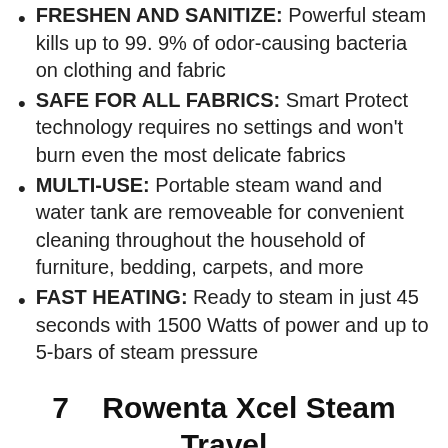FRESHEN AND SANITIZE: Powerful steam kills up to 99. 9% of odor-causing bacteria on clothing and fabric
SAFE FOR ALL FABRICS: Smart Protect technology requires no settings and won't burn even the most delicate fabrics
MULTI-USE: Portable steam wand and water tank are removeable for convenient cleaning throughout the household of furniture, bedding, carpets, and more
FAST HEATING: Ready to steam in just 45 seconds with 1500 Watts of power and up to 5-bars of steam pressure
7   Rowenta Xcel Steam Travel DR7051 Hand-Held Garment